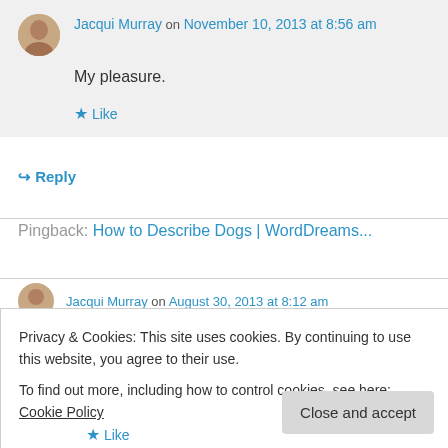Jacqui Murray on November 10, 2013 at 8:56 am
My pleasure.
★ Like
↳ Reply
Pingback: How to Describe Dogs | WordDreams...
Jacqui Murray on August 30, 2013 at 8:12 am
★ Like
Privacy & Cookies: This site uses cookies. By continuing to use this website, you agree to their use.
To find out more, including how to control cookies, see here: Cookie Policy
Close and accept